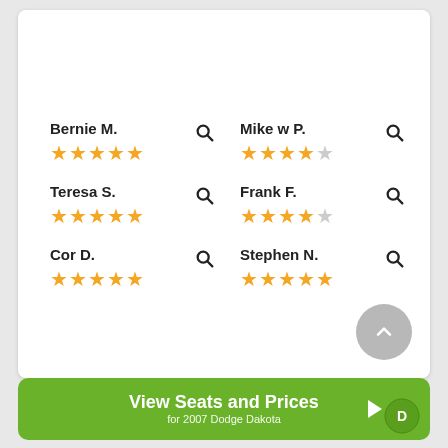Bernie M. ★★★★★
Mike w P. ★★★★☆
Teresa S. ★★★★★
Frank F. ★★★★☆
Cor D. ★★★★★
Stephen N. ★★★★★
View Seats and Prices
for 2007 Dodge Dakota